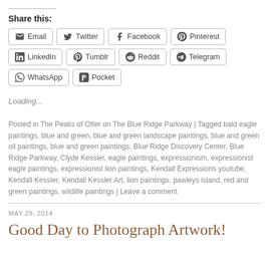Share this:
[Figure (other): Social share buttons: Email, Twitter, Facebook, Pinterest, LinkedIn, Tumblr, Reddit, Telegram, WhatsApp, Pocket]
Loading...
Posted in The Peaks of Otter on The Blue Ridge Parkway | Tagged bald eagle paintings, blue and green, blue and green landscape paintings, blue and green oil paintings, blue and green paintings, Blue Ridge Discovery Center, Blue Ridge Parkway, Clyde Kessler, eagle paintings, expressionism, expressionist eagle paintings, expressionist lion paintings, Kendall Expressions youtube, Kendall Kessler, Kendall Kessler Art, lion paintings, pawleys island, red and green paintings, wildlife paintings | Leave a comment
MAY 29, 2014
Good Day to Photograph Artwork!